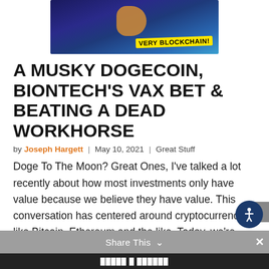[Figure (illustration): A cartoon-style illustration of a Dogecoin-themed image with a dog riding in space over the Earth, with yellow text reading 'VERY BLOCKCHAIN!' on a dark blue/space background.]
A MUSKY DOGECOIN, BIONTECH'S VAX BET & BEATING A DEAD WORKHORSE
by Joseph Hargett  |  May 10, 2021  |  Great Stuff
Doge To The Moon? Great Ones, I've talked a lot recently about how most investments only have value because we believe they have value. This conversation has centered around cryptocurrencies like Bitcoin, Ethereum and the like. Today, we're continuing this conversation with a closer look at Dogecoin (DOGE). Now, I swore to myself at some [...]
Share This